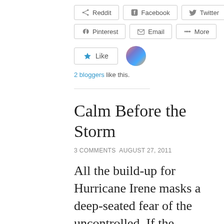[Figure (screenshot): Social share buttons row 1: Reddit, Facebook, Twitter]
[Figure (screenshot): Social share buttons row 2: Pinterest, Email, More]
[Figure (screenshot): Like button with star icon and an avatar image]
2 bloggers like this.
Calm Before the Storm
3 COMMENTS AUGUST 27, 2011
All the build-up for Hurricane Irene masks a deep-seated fear of the uncontrolled. If the